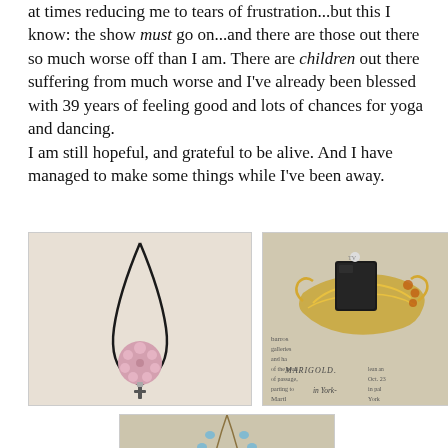at times reducing me to tears of frustration...but this I know: the show must go on...and there are those out there so much worse off than I am. There are children out there suffering from much worse and I've already been blessed with 39 years of feeling good and lots of chances for yoga and dancing.
I am still hopeful, and grateful to be alive. And I have managed to make some things while I've been away.
[Figure (photo): A pink floral polymer clay pendant on a black cord necklace, photographed against a white/cream background.]
[Figure (photo): A gold ornate ring with a black rectangular stone, placed on an open book/newspaper showing the word MARIGOLD and text about York.]
[Figure (photo): A necklace with blue crystal beads, charm pendants, and a large aqua crystal teardrop, laid on an open book/newspaper.]